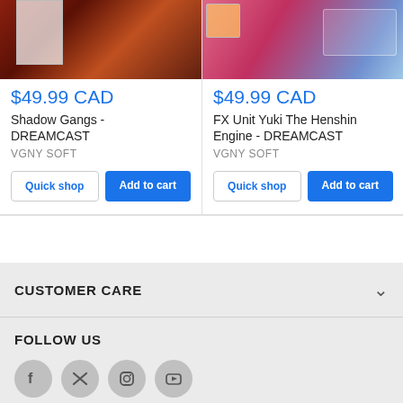[Figure (photo): Shadow Gangs Dreamcast game cover image, dark background with characters]
$49.99 CAD
Shadow Gangs - DREAMCAST
VGNY SOFT
[Figure (photo): FX Unit Yuki The Henshin Engine Dreamcast game cover, pink/blue anime style]
$49.99 CAD
FX Unit Yuki The Henshin Engine - DREAMCAST
VGNY SOFT
CUSTOMER CARE
FOLLOW US